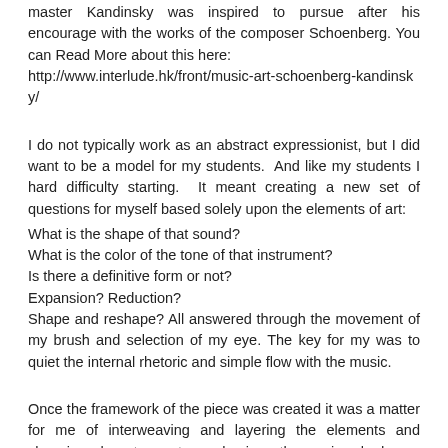master Kandinsky was inspired to pursue after his encourage with the works of the composer Schoenberg. You can Read More about this here:
http://www.interlude.hk/front/music-art-schoenberg-kandinsky/
I do not typically work as an abstract expressionist, but I did want to be a model for my students.  And like my students I hard difficulty starting.  It meant creating a new set of questions for myself based solely upon the elements of art:
What is the shape of that sound?
What is the color of the tone of that instrument?
Is there a definitive form or not?
Expansion? Reduction?
Shape and reshape? All answered through the movement of my brush and selection of my eye. The key for my was to quiet the internal rhetoric and simple flow with the music.
Once the framework of the piece was created it was a matter for me of interweaving and layering the elements and choosing where to create emphasis as the music asked.
Overall, it was a very freeing exercise that I intend to revisit.  And it completely disabused me of the notion that somehow